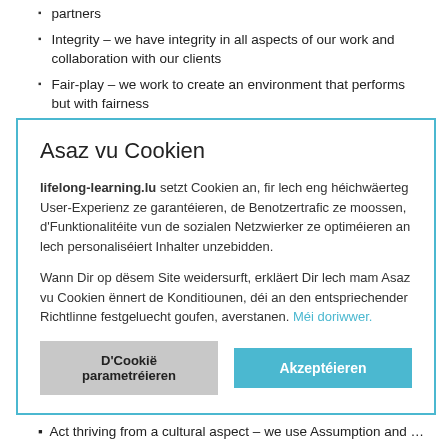partners
Integrity – we have integrity in all aspects of our work and collaboration with our clients
Fair-play – we work to create an environment that performs but with fairness
Respect – Respect the whole person and believe that they are capable in achieving their potential
Collaboration – we foster quality working relationships whether in
engage them
looking to ance our own
of our work and
proach
who you are, at what impact
Act thriving from a cultural aspect – we use Assumption and Emotional
[Figure (screenshot): Cookie consent overlay dialog with title 'Asaz vu Cookien', explanatory text in Luxembourgish about lifelong-learning.lu cookie usage, and two buttons: 'D'Cookië parametréieren' (gray) and 'Akzeptéieren' (teal)]